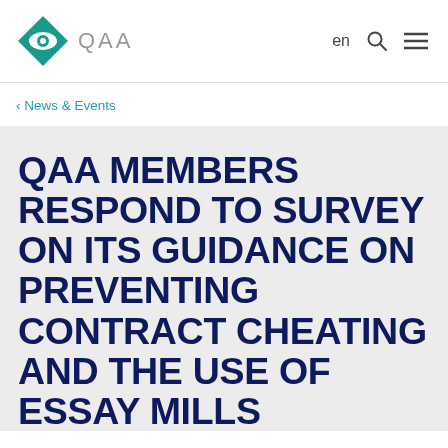QAA
< News & Events
QAA MEMBERS RESPOND TO SURVEY ON ITS GUIDANCE ON PREVENTING CONTRACT CHEATING AND THE USE OF ESSAY MILLS